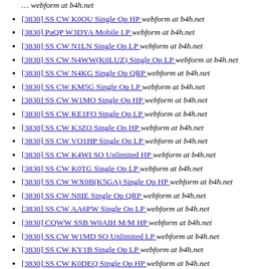[3830] SS CW K0OU Single Op HP  webform at b4h.net
[3830] PaQP W3DYA Mobile LP  webform at b4h.net
[3830] SS CW N1LN Single Op LP  webform at b4h.net
[3830] SS CW N4WW(K0LUZ) Single Op LP  webform at b4h.net
[3830] SS CW N4KG Single Op QRP  webform at b4h.net
[3830] SS CW KM5G Single Op LP  webform at b4h.net
[3830] SS CW W1MO Single Op HP  webform at b4h.net
[3830] SS CW KE1FO Single Op LP  webform at b4h.net
[3830] SS CW K3ZO Single Op HP  webform at b4h.net
[3830] SS CW VO1HP Single Op LP  webform at b4h.net
[3830] SS CW K4WI SO Unlimited HP  webform at b4h.net
[3830] SS CW K0TG Single Op LP  webform at b4h.net
[3830] SS CW WX0B(K5GA) Single Op HP  webform at b4h.net
[3830] SS CW N8IE Single Op QRP  webform at b4h.net
[3830] SS CW AA6PW Single Op LP  webform at b4h.net
[3830] CQWW SSB W0AIH M/M HP  webform at b4h.net
[3830] SS CW W1MD SO Unlimited LP  webform at b4h.net
[3830] SS CW KY1B Single Op LP  webform at b4h.net
[3830] SS CW K0DEQ Single Op HP  webform at b4h.net
[3830] SS CW NO5W Single Op LP  webform at b4h.net
[3830] SS CW N5DQ Single Op LP  webform at b4h.net